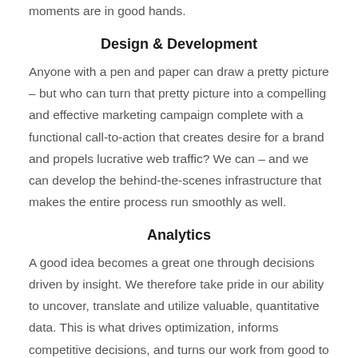moments are in good hands.
Design & Development
Anyone with a pen and paper can draw a pretty picture – but who can turn that pretty picture into a compelling and effective marketing campaign complete with a functional call-to-action that creates desire for a brand and propels lucrative web traffic? We can – and we can develop the behind-the-scenes infrastructure that makes the entire process run smoothly as well.
Analytics
A good idea becomes a great one through decisions driven by insight. We therefore take pride in our ability to uncover, translate and utilize valuable, quantitative data. This is what drives optimization, informs competitive decisions, and turns our work from good to great to out-of-this-world amazing. From the stats that inspire our campaigns to the metrics that prove their success, analytics are an integral part of everything we do.